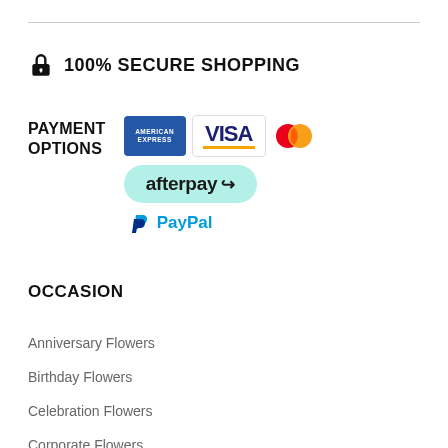🔒 100% SECURE SHOPPING
[Figure (infographic): Payment options section showing American Express, Visa, Mastercard, Afterpay, and PayPal logos with label PAYMENT OPTIONS]
OCCASION
Anniversary Flowers
Birthday Flowers
Celebration Flowers
Corporate Flowers